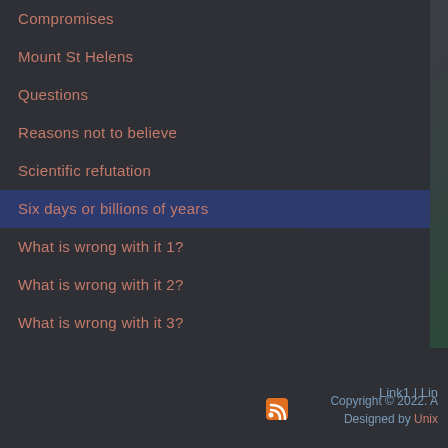Compromises
Mount St Helens
Questions
Reasons not to believe
Scientific refutation
Six days or billions of years
What is wrong with it 1?
What is wrong with it 2?
What is wrong with it 3?
What is wrong with it 4?
Link1 | Lin  Copyright © 2022. A  Designed by Unix